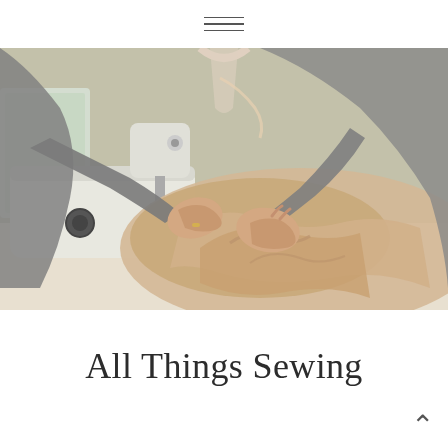≡
[Figure (photo): A person using a sewing machine, guiding beige/tan fabric with both hands. White sewing machine visible on the left, person wearing gray cardigan and white top with tape measure around neck.]
All Things Sewing